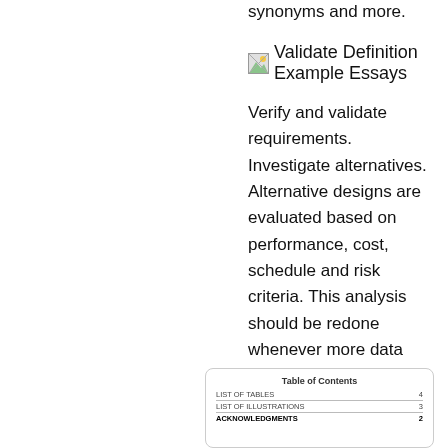synonyms and more.
[Figure (illustration): Broken image placeholder with text 'Validate Definition Example Essays']
Verify and validate requirements. Investigate alternatives. Alternative designs are evaluated based on performance, cost, schedule and risk criteria. This analysis should be redone whenever more data are available. Define quantitative measures. Performance and cost criteria show how well the system satisfies its requirements, e.g., In this test the car accelerated from 0 to 60 in 6.5 seconds.
| Table of Contents |  |
| --- | --- |
| LIST OF TABLES | 4 |
| LIST OF ILLUSTRATIONS | 3 |
| ACKNOWLEDGMENTS | 2 |